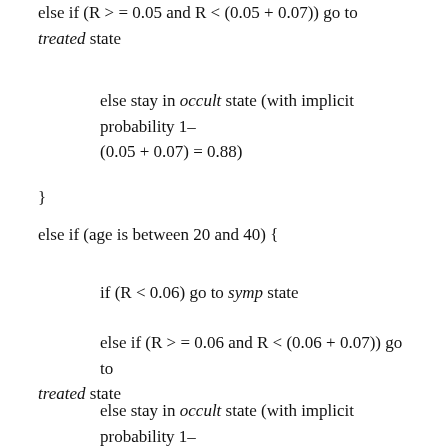else if (R >= 0.05 and R < (0.05 + 0.07)) go to treated state
else stay in occult state (with implicit probability 1–(0.05 + 0.07) = 0.88)
}
else if (age is between 20 and 40) {
if (R < 0.06) go to symp state
else if (R >= 0.06 and R < (0.06 + 0.07)) go to treated state
else stay in occult state (with implicit probability 1–(0.06 + 0.07) = 0.87)